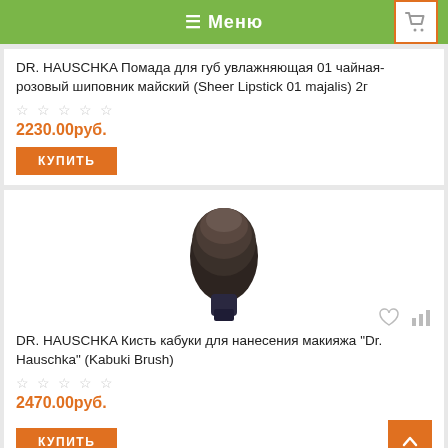≡ Меню
DR. HAUSCHKA Помада для губ увлажняющая 01 чайная-розовый шиповник майский (Sheer Lipstick 01 majalis) 2г
2230.00руб.
КУПИТЬ
[Figure (illustration): Kabuki makeup brush with dark fluffy bristles and dark handle]
DR. HAUSCHKA Кисть кабуки для нанесения макияжа "Dr. Hauschka" (Kabuki Brush)
2470.00руб.
КУПИТЬ